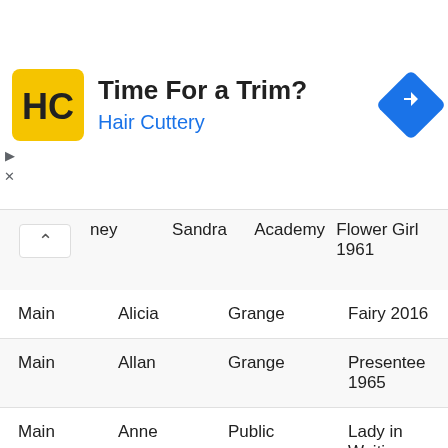[Figure (other): Hair Cuttery advertisement banner with logo, tagline 'Time For a Trim?', brand name 'Hair Cuttery', and a navigation/directions icon]
|  | Sandra | Academy | Flower Girl 1961 |
| --- | --- | --- | --- |
| Main | Alicia | Grange | Fairy 2016 |
| Main | Allan | Grange | Presentee 1965 |
| Main | Anne | Public | Lady in Waiting 1967 |
| Main | Betty | Blackness | Fairy 1946 |
| Main | Catherine | Borrowstoun | Flower Girl 1955 |
| Main | Catherine | Public | Fairy 1964 |
| Main | Helen | Grange | Fairy 1924 |